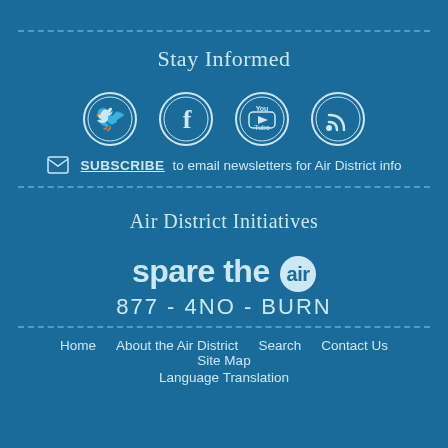Stay Informed
[Figure (illustration): Four social media icon circles: Twitter bird, Facebook f, YouTube logo, RSS feed symbol]
SUBSCRIBE to email newsletters for Air District info
Air District Initiatives
[Figure (logo): spare the air logo with circular air badge]
877-4NO-BURN
Home  About the Air District  Search  Contact Us  Site Map  Language Translation